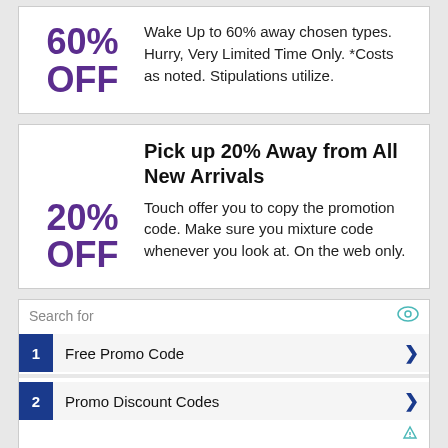60% OFF
Wake Up to 60% away chosen types. Hurry, Very Limited Time Only. *Costs as noted. Stipulations utilize.
Pick up 20% Away from All New Arrivals
20% OFF
Touch offer you to copy the promotion code. Make sure you mixture code whenever you look at. On the web only.
Search for
1  Free Promo Code
2  Promo Discount Codes